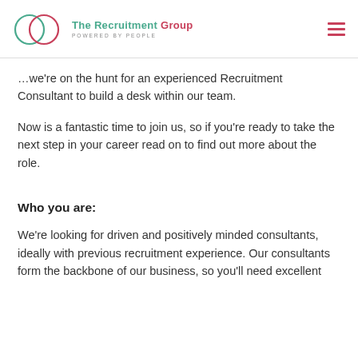The Recruitment Group — POWERED BY PEOPLE
...we're on the hunt for an experienced Recruitment Consultant to build a desk within our team.
Now is a fantastic time to join us, so if you're ready to take the next step in your career read on to find out more about the role.
Who you are:
We're looking for driven and positively minded consultants, ideally with previous recruitment experience. Our consultants form the backbone of our business, so you'll need excellent...